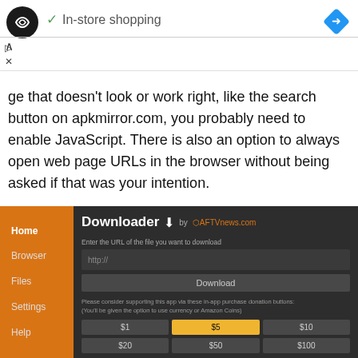[Figure (screenshot): Ad banner showing a circular logo with infinity symbol, green checkmark with 'In-store shopping' text, and a blue navigation diamond icon on the right. Below are small play and close controls.]
ge that doesn't look or work right, like the search button on apkmirror.com, you probably need to enable JavaScript. There is also an option to always open web page URLs in the browser without being asked if that was your intention.
[Figure (screenshot): Screenshot of the Downloader app by AFTVnews.com showing a dark-themed interface with an orange sidebar containing Home, Browser, Files, Settings, Help navigation items. The main content area shows a URL input field with 'http://' placeholder, a Download button, support text about in-app purchases, and a donation grid with buttons for $1, $5 (highlighted in yellow), $10, $20, $50, $100.]